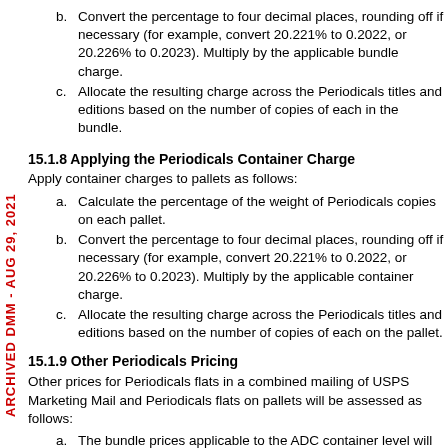b. Convert the percentage to four decimal places, rounding off if necessary (for example, convert 20.221% to 0.2022, or 20.226% to 0.2023). Multiply by the applicable bundle charge.
c. Allocate the resulting charge across the Periodicals titles and editions based on the number of copies of each in the bundle.
15.1.8 Applying the Periodicals Container Charge
Apply container charges to pallets as follows:
a. Calculate the percentage of the weight of Periodicals copies on each pallet.
b. Convert the percentage to four decimal places, rounding off if necessary (for example, convert 20.221% to 0.2022, or 20.226% to 0.2023). Multiply by the applicable container charge.
c. Allocate the resulting charge across the Periodicals titles and editions based on the number of copies of each on the pallet.
15.1.9 Other Periodicals Pricing
Other prices for Periodicals flats in a combined mailing of USPS Marketing Mail and Periodicals flats on pallets will be assessed as follows:
a. The bundle prices applicable to the ADC container level will be applied to the ASF/NDC container levels.
b. The container prices applicable to the ADC pallet level will appl